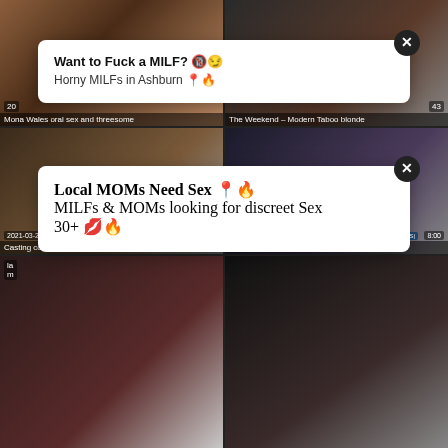[Figure (screenshot): Video thumbnail grid of adult content website with overlay ads. Top row: two video thumbnails with female subjects. Middle row: two video thumbnails with dates 2021-03-21 and 2021-04-06. Bottom row: two more video thumbnails. Two popup ad overlays visible: 'Want to Fuck a MILF?' and 'Local MOMs Need Sex'.]
Want to Fuck a MILF? Horny MILFs in Ashburn
Local MOMs Need Sex
MILFs & MOMs looking for discreet Sex 30+
Mona Wales oral sex and threesome
The Weekend – Modern Taboo blonde
Casting compilation, Desperate
Captivating rachel evans flirts and gets